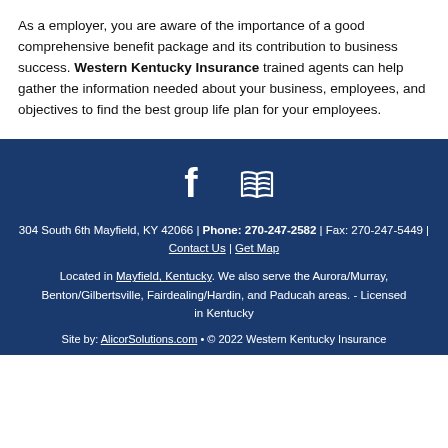As a employer, you are aware of the importance of a good comprehensive benefit package and its contribution to business success. Western Kentucky Insurance trained agents can help gather the information needed about your business, employees, and objectives to find the best group life plan for your employees.
[Figure (illustration): Facebook icon and map/book icon in white on dark blue background]
304 South 6th Mayfield, KY 42066 | Phone: 270-247-2582 | Fax: 270-247-5449 | Contact Us | Get Map
Located in Mayfield, Kentucky. We also serve the Aurora/Murray, Benton/Gilbertsville, Fairdealing/Hardin, and Paducah areas. - Licensed in Kentucky
Site by: AlicorSolutions.com • © 2022 Western Kentucky Insurance